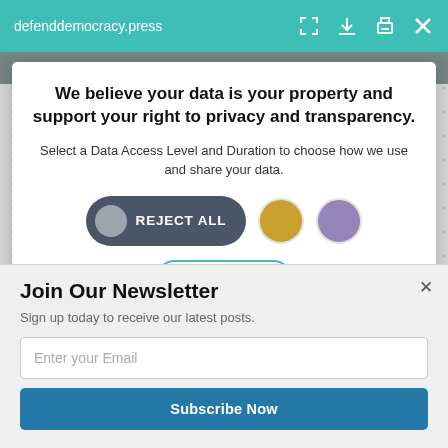defenddemocracy.press
We believe your data is your property and support your right to privacy and transparency.
Select a Data Access Level and Duration to choose how we use and share your data.
REJECT ALL
1 month
Join Our Newsletter
Sign up today to receive our latest posts.
Enter your Email
Subscribe Now